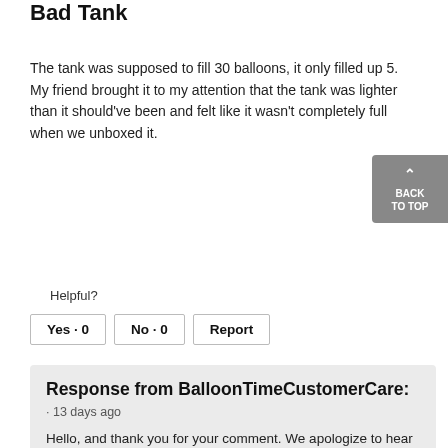Bad Tank
The tank was supposed to fill 30 balloons, it only filled up 5. My friend brought it to my attention that the tank was lighter than it should've been and felt like it wasn't completely full when we unboxed it.
Helpful?
Yes · 0   No · 0   Report
Response from BalloonTimeCustomerCare:
· 13 days ago
Hello, and thank you for your comment. We apologize to hear about your experience with your helium tank. So we can learn more about your experience and better assist you, please email us